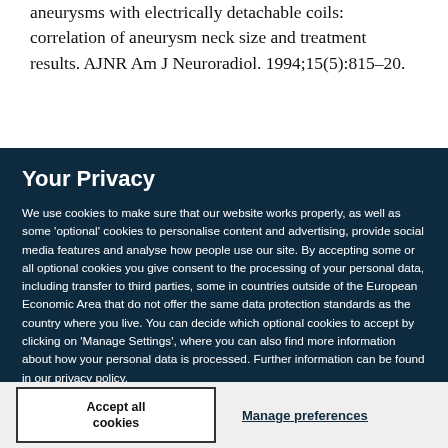aneurysms with electrically detachable coils: correlation of aneurysm neck size and treatment results. AJNR Am J Neuroradiol. 1994;15(5):815–20.
Your Privacy
We use cookies to make sure that our website works properly, as well as some 'optional' cookies to personalise content and advertising, provide social media features and analyse how people use our site. By accepting some or all optional cookies you give consent to the processing of your personal data, including transfer to third parties, some in countries outside of the European Economic Area that do not offer the same data protection standards as the country where you live. You can decide which optional cookies to accept by clicking on 'Manage Settings', where you can also find more information about how your personal data is processed. Further information can be found in our privacy policy.
Accept all cookies
Manage preferences